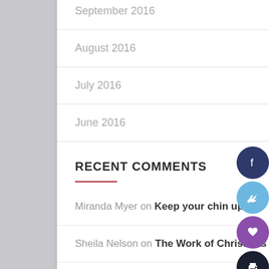September 2016
August 2016
July 2016
June 2016
RECENT COMMENTS
Miranda Myer on Keep your chin up
Sheila Nelson on The Work of Christmas
Ronald Pagnucco on The Work of